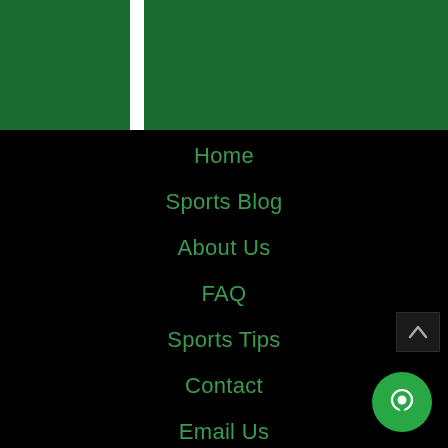[Figure (illustration): Dark green header bar with a white vertical stripe on the left side]
Home
Sports Blog
About Us
FAQ
Sports Tips
Contact
Email Us
Join Now!
Premium Picks
[Figure (illustration): Green circular chat bubble button in bottom right corner]
[Figure (illustration): Scroll to top caret/arrow button on right side]